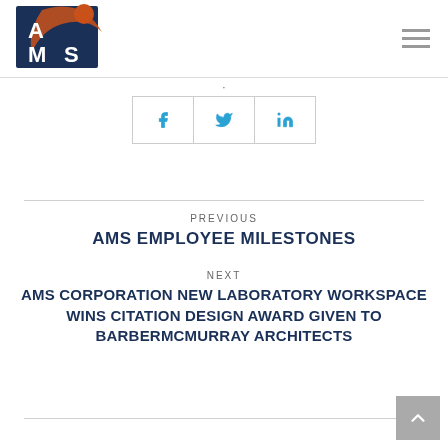AMS logo and navigation header
[Figure (logo): AMS Corporation logo with dark blue and orange design, letters A M S on blue square background]
.
[Figure (other): Social share buttons: Facebook (f), Twitter (bird icon), LinkedIn (in)]
PREVIOUS
AMS EMPLOYEE MILESTONES
NEXT
AMS CORPORATION NEW LABORATORY WORKSPACE WINS CITATION DESIGN AWARD GIVEN TO BARBERMCMURRAY ARCHITECTS